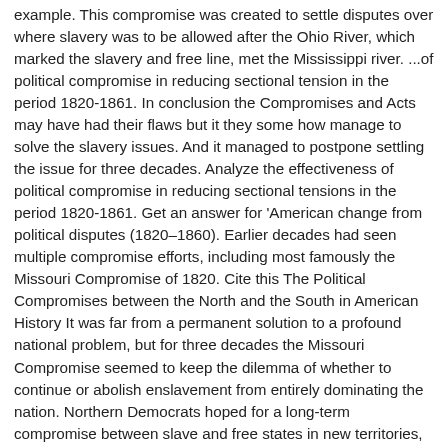example. This compromise was created to settle disputes over where slavery was to be allowed after the Ohio River, which marked the slavery and free line, met the Mississippi river. ...of political compromise in reducing sectional tension in the period 1820-1861. In conclusion the Compromises and Acts may have had their flaws but it they some how manage to solve the slavery issues. And it managed to postpone settling the issue for three decades. Analyze the effectiveness of political compromise in reducing sectional tensions in the period 1820-1861. Get an answer for 'American change from political disputes (1820–1860). Earlier decades had seen multiple compromise efforts, including most famously the Missouri Compromise of 1820. Cite this The Political Compromises between the North and the South in American History It was far from a permanent solution to a profound national problem, but for three decades the Missouri Compromise seemed to keep the dilemma of whether to continue or abolish enslavement from entirely dominating the nation. Northern Democrats hoped for a long-term compromise between slave and free states in new territories, while Southern Democrats demanded federal protections of slavery and threatened secession if Congress refused to meet their demands. The Constitution itself protected the institution of slavery (while never actually using the word) and the only way short of an amendment to...